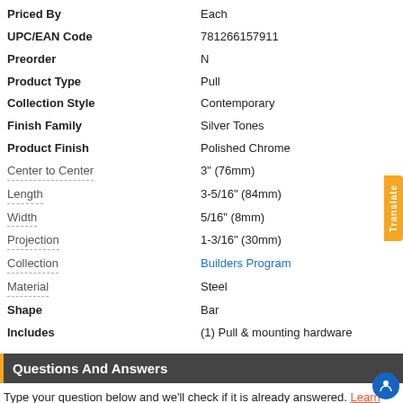| Attribute | Value |
| --- | --- |
| Priced By | Each |
| UPC/EAN Code | 781266157911 |
| Preorder | N |
| Product Type | Pull |
| Collection Style | Contemporary |
| Finish Family | Silver Tones |
| Product Finish | Polished Chrome |
| Center to Center | 3" (76mm) |
| Length | 3-5/16" (84mm) |
| Width | 5/16" (8mm) |
| Projection | 1-3/16" (30mm) |
| Collection | Builders Program |
| Material | Steel |
| Shape | Bar |
| Includes | (1) Pull & mounting hardware |
Questions And Answers
Type your question below and we'll check if it is already answered. Learn more...